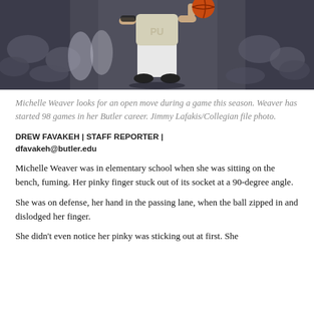[Figure (photo): Basketball player (Michelle Weaver) in white uniform holding a basketball, photographed during a game, with blurred background crowd and arena.]
Michelle Weaver looks for an open move during a game this season. Weaver has started 98 games in her Butler career. Jimmy Lafakis/Collegian file photo.
DREW FAVAKEH | STAFF REPORTER | dfavakeh@butler.edu
Michelle Weaver was in elementary school when she was sitting on the bench, fuming. Her pinky finger stuck out of its socket at a 90-degree angle.
She was on defense, her hand in the passing lane, when the ball zipped in and dislodged her finger.
She didn't even notice her pinky was sticking out at first. She